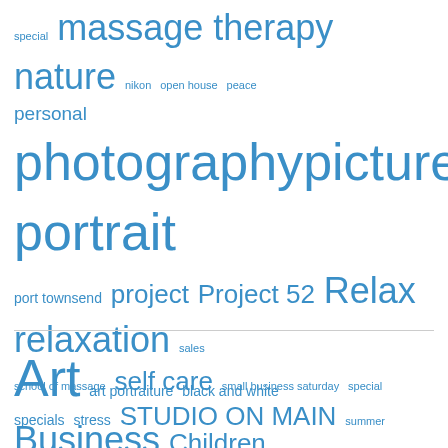[Figure (infographic): Tag cloud with words of varying sizes in blue: special, massage therapy, nature, nikon, open house, peace, personal, photography, pictures, portrait, port townsend, project, Project 52, Relax, relaxation, sales, school of massage, self care, small business saturday, special, specials, stress, STUDIO ON MAIN, summer, tania palermo, tania palermo studio on main, thank you, travel, tree, vintage, wellness, white, winter, woman, women]
[Figure (infographic): Second tag cloud section below divider: Art, art portraiture, black and white, Business, Children, collaboration, covid-19, CT, Family Portrait, Head Shot, Indulge]